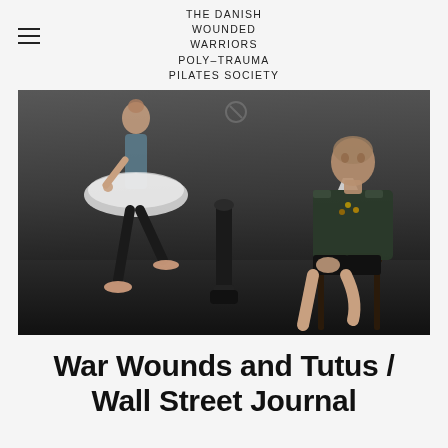THE DANISH WOUNDED WARRIORS POLY-TRAUMA PILATES SOCIETY
[Figure (photo): Black and white photograph of a young female ballet dancer in a tutu and pointe shoes on the left, and a seated male military officer in dress uniform missing his leg below the knee on the right, with a prosthetic leg standing between them against a concrete wall backdrop.]
War Wounds and Tutus / Wall Street Journal